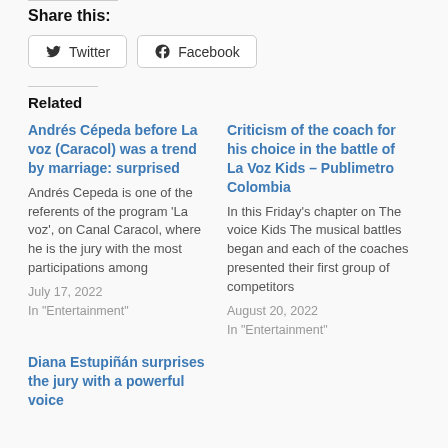Share this:
Twitter
Facebook
Related
Andrés Cépeda before La voz (Caracol) was a trend by marriage: surprised
Andrés Cepeda is one of the referents of the program 'La voz', on Canal Caracol, where he is the jury with the most participations among
July 17, 2022
In "Entertainment"
Criticism of the coach for his choice in the battle of La Voz Kids – Publimetro Colombia
In this Friday's chapter on The voice Kids The musical battles began and each of the coaches presented their first group of competitors
August 20, 2022
In "Entertainment"
Diana Estupiñán surprises the jury with a powerful voice